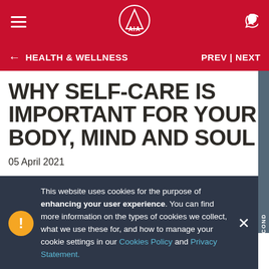AIA — Navigation bar with hamburger menu, AIA logo, phone icon
← HEALTH & WELLNESS    PREV | NEXT
WHY SELF-CARE IS IMPORTANT FOR YOUR BODY, MIND AND SOUL
05 April 2021
This website uses cookies for the purpose of enhancing your user experience. You can find more information on the types of cookies we collect, what we use these for, and how to manage your cookie settings in our Cookies Policy and Privacy Statement.
Self-care is important in preventing burnout and